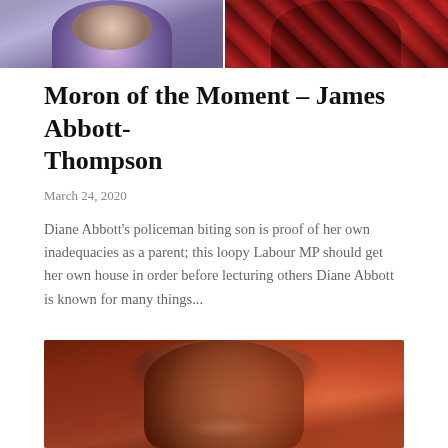[Figure (photo): Two cropped portrait photos side by side at the top of the page]
Moron of the Moment – James Abbott-Thompson
March 24, 2020
Diane Abbott's policeman biting son is proof of her own inadequacies as a parent; this loopy Labour MP should get her own house in order before lecturing others Diane Abbott is known for many things...
[Figure (photo): Portrait photo of an elderly woman with brown hair against an orange/red background]